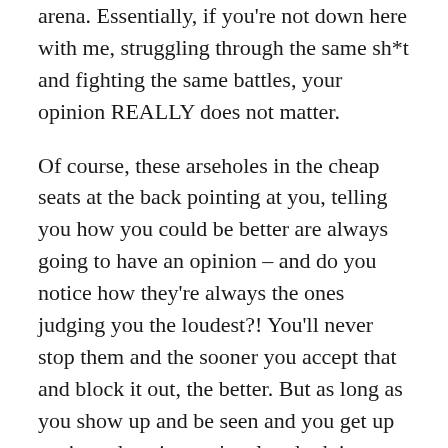arena. Essentially, if you're not down here with me, struggling through the same sh*t and fighting the same battles, your opinion REALLY does not matter.
Of course, these arseholes in the cheap seats at the back pointing at you, telling you how you could be better are always going to have an opinion – and do you notice how they're always the ones judging you the loudest?! You'll never stop them and the sooner you accept that and block it out, the better. But as long as you show up and be seen and you get up again and again, you're already doing better than them. I'll say it louder for those at the back, their opinions REALLY don't matter.
Now, some may call me arrogant, other common labels